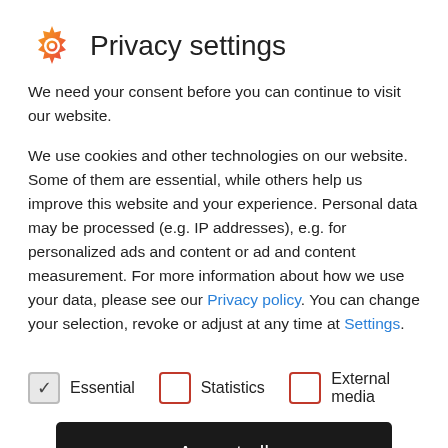Privacy settings
We need your consent before you can continue to visit our website.
We use cookies and other technologies on our website. Some of them are essential, while others help us improve this website and your experience. Personal data may be processed (e.g. IP addresses), e.g. for personalized ads and content or ad and content measurement. For more information about how we use your data, please see our Privacy policy. You can change your selection, revoke or adjust at any time at Settings.
Essential
Statistics
External media
Accept all
focussed advice in theidl of intellectual property and technology law. Questions about technology and law, patents, trademarks